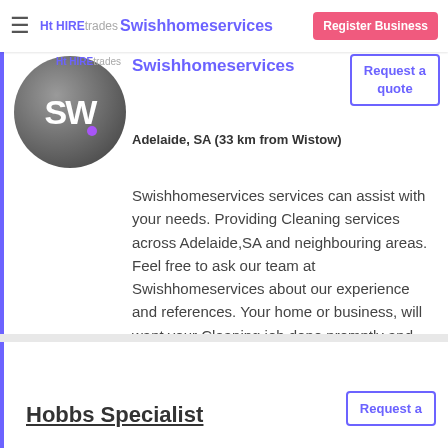HIREtrades | Swishhomeservices | Register Business | Request a quote
[Figure (logo): Swishhomeservices logo circle with SW initials in dark grey gradient and purple dot]
Swishhomeservices
Adelaide, SA (33 km from Wistow)
Swishhomeservices services can assist with your needs. Providing Cleaning services across Adelaide,SA and neighbouring areas. Feel free to ask our team at Swishhomeservices about our experience and references. Your home or business, will want your Cleaning job done promptly and efficiently - we aim to please, looking forward to helping you with your present and future requirements.
Hobbs Specialist